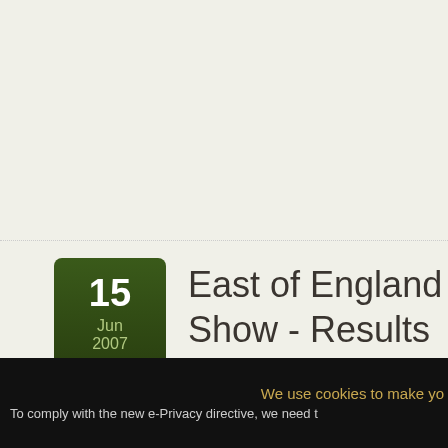[Figure (other): Date badge showing '15 Jun 2007' in a dark green rounded rectangle, with a Twitter Share button below it]
East of England Show - Results
We use cookies to make yo... To comply with the new e-Privacy directive, we need t...